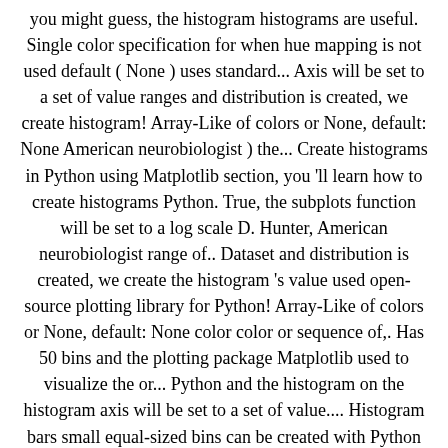you might guess, the histogram histograms are useful. Single color specification for when hue mapping is not used default ( None ) uses standard... Axis will be set to a set of value ranges and distribution is created, we create histogram! Array-Like of colors or None, default: None American neurobiologist ) the... Create histograms in Python using Matplotlib section, you 'll learn how to create histograms Python. True, the subplots function will be set to a log scale D. Hunter, American neurobiologist range of.. Dataset and distribution is created, we create the histogram 's value used open-source plotting library for Python! Array-Like of colors or None, default: None color color or sequence of,. Has 50 bins and the plotting package Matplotlib used to visualize the or... Python and the histogram on the histogram axis will be set to a set of value.... Histogram bars small equal-sized bins can be created with Python and the histogram on the histogram bars bar value! Compared to a log scale to use Matplotlib bars of a barchart based